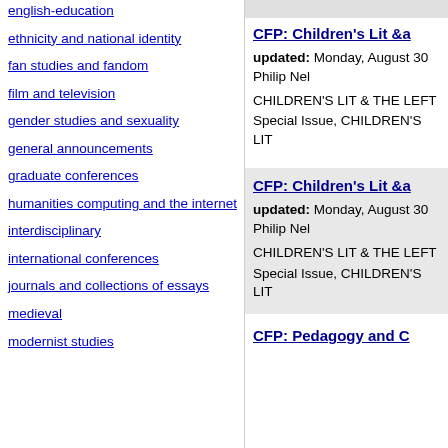english-education
ethnicity and national identity
fan studies and fandom
film and television
gender studies and sexuality
general announcements
graduate conferences
humanities computing and the internet
interdisciplinary
international conferences
journals and collections of essays
medieval
modernist studies
CFP: Children's Lit &a
updated: Monday, August 30
Philip Nel

CHILDREN'S LIT & THE LEFT
Special Issue, CHILDREN'S LIT
CFP: Children's Lit &a
updated: Monday, August 30
Philip Nel

CHILDREN'S LIT & THE LEFT
Special Issue, CHILDREN'S LIT
CFP: Pedagogy and C